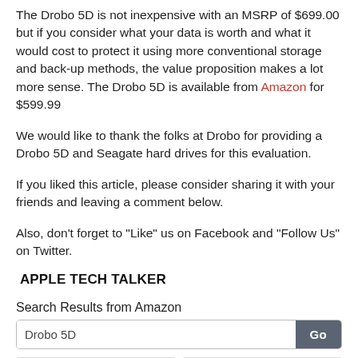The Drobo 5D is not inexpensive with an MSRP of $699.00 but if you consider what your data is worth and what it would cost to protect it using more conventional storage and back-up methods, the value proposition makes a lot more sense. The Drobo 5D is available from Amazon for $599.99
We would like to thank the folks at Drobo for providing a Drobo 5D and Seagate hard drives for this evaluation.
If you liked this article, please consider sharing it with your friends and leaving a comment below.
Also, don’t forget to “Like” us on Facebook and “Follow Us” on Twitter.
APPLE TECH TALKER
Search Results from Amazon
[Figure (screenshot): Search bar with text 'Drobo 5D' and a Go button, followed by two product image thumbnails below]
[Figure (photo): Product image on the left: a black Drobo 5D device with cables]
[Figure (photo): Product image on the right: a blue cable (likely USB 3.0 or Thunderbolt)]